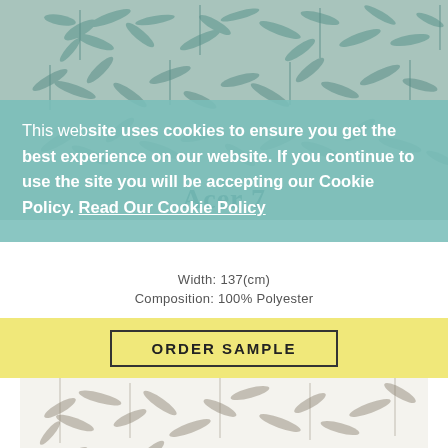[Figure (photo): Teal/sage green fabric with botanical palm leaf pattern at top of page]
Acer 7
Width: 137(cm)
Composition: 100% Polyester
This website uses cookies to ensure you get the best experience on our website. If you continue to use the site you will be accepting our Cookie Policy. Read Our Cookie Policy
Got it!
ORDER SAMPLE
[Figure (photo): White/cream fabric with grey-brown botanical palm/bamboo leaf pattern]